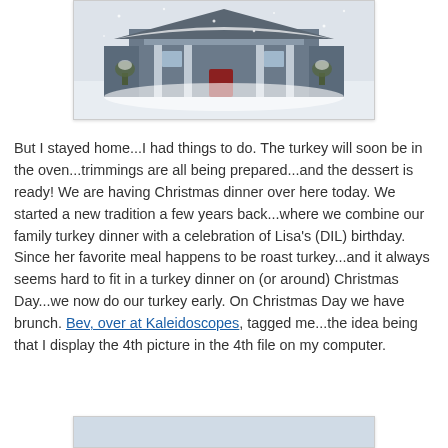[Figure (photo): A house covered in snow during a snowstorm, with a porch and columns visible, snowy yard in the foreground.]
But I stayed home...I had things to do. The turkey will soon be in the oven...trimmings are all being prepared...and the dessert is ready! We are having Christmas dinner over here today. We started a new tradition a few years back...where we combine our family turkey dinner with a celebration of Lisa's (DIL) birthday. Since her favorite meal happens to be roast turkey...and it always seems hard to fit in a turkey dinner on (or around) Christmas Day...we now do our turkey early. On Christmas Day we have brunch. Bev, over at Kaleidoscopes, tagged me...the idea being that I display the 4th picture in the 4th file on my computer.
[Figure (photo): Partial view of another photo at the bottom of the page.]